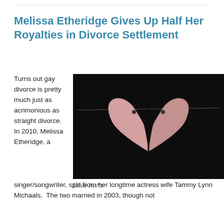Melissa Etheridge Gives Up Half Her Royalties in Divorce Settlement
Turns out gay divorce is pretty much just as acrimonious as straight divorce.  In 2010, Melissa Etheridge, a singer/songwriter, split from her longtime actress wife Tammy Lynn Michaels.  The two married in 2003, though not
[Figure (photo): A broken ceramic or clay heart, split in two halves, hanging on a wire against a dark/black background.]
Love hurts